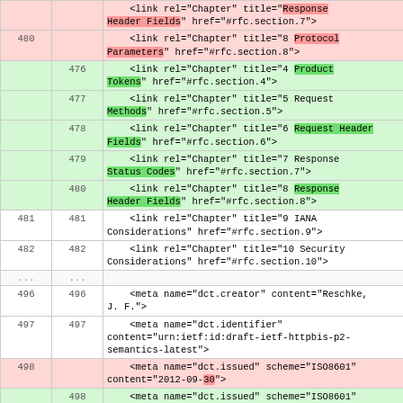| old | new | code |
| --- | --- | --- |
|  | 476 | <link rel="Chapter" title="4 Product Tokens" href="#rfc.section.4"> |
|  | 477 | <link rel="Chapter" title="5 Request Methods" href="#rfc.section.5"> |
|  | 478 | <link rel="Chapter" title="6 Request Header Fields" href="#rfc.section.6"> |
|  | 479 | <link rel="Chapter" title="7 Response Status Codes" href="#rfc.section.7"> |
| 480 |  | <link rel="Chapter" title="8 Protocol Parameters" href="#rfc.section.8"> |
|  | 480 | <link rel="Chapter" title="8 Response Header Fields" href="#rfc.section.8"> |
| 481 | 481 | <link rel="Chapter" title="9 IANA Considerations" href="#rfc.section.9"> |
| 482 | 482 | <link rel="Chapter" title="10 Security Considerations" href="#rfc.section.10"> |
| ... | ... |  |
| 496 | 496 | <meta name="dct.creator" content="Reschke, J. F."> |
| 497 | 497 | <meta name="dct.identifier" content="urn:ietf:id:draft-ietf-httpbis-p2-semantics-latest"> |
| 498 |  | <meta name="dct.issued" scheme="ISO8601" content="2012-09-30"> |
|  | 498 | <meta name="dct.issued" scheme="ISO8601" content="2012-09"> |
| 499 | 499 | <meta name="dct.replaces" content="urn:ietf:rfc:2616"> |
| 500 | 500 | <meta name="dct.abstract" content="The Hypertext Transfer Protocol (HTTP) is an application-level protocol for distributed, collaborative, hypertext information systems. This document defines the semantics of HTTP/1.1 |